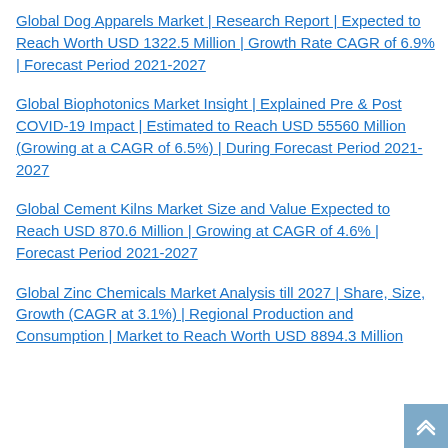Global Dog Apparels Market | Research Report | Expected to Reach Worth USD 1322.5 Million | Growth Rate CAGR of 6.9% | Forecast Period 2021-2027
Global Biophotonics Market Insight | Explained Pre & Post COVID-19 Impact | Estimated to Reach USD 55560 Million (Growing at a CAGR of 6.5%) | During Forecast Period 2021-2027
Global Cement Kilns Market Size and Value Expected to Reach USD 870.6 Million | Growing at CAGR of 4.6% | Forecast Period 2021-2027
Global Zinc Chemicals Market Analysis till 2027 | Share, Size, Growth (CAGR at 3.1%) | Regional Production and Consumption | Market to Reach Worth USD 8894.3 Million